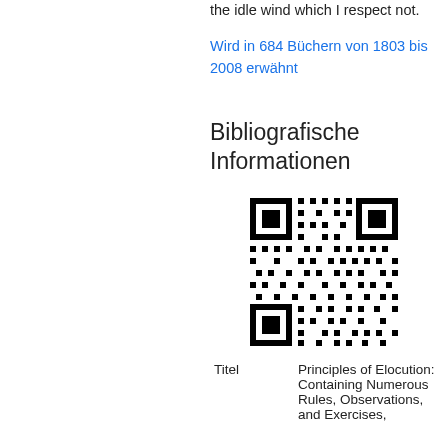the idle wind which I respect not.
Wird in 684 Büchern von 1803 bis 2008 erwähnt
Bibliografische Informationen
[Figure (other): QR code for bibliographic information]
| Titel | Principles of Elocution: Containing Numerous Rules, Observations, and Exercises, |